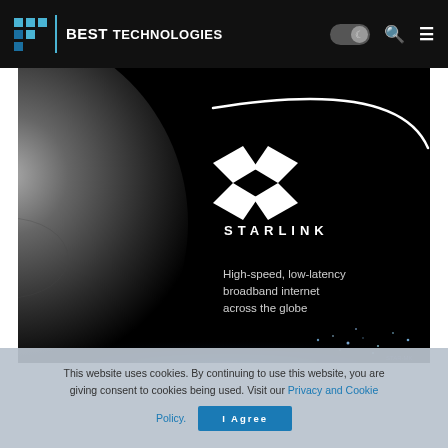BEST TECHNOLOGIES
[Figure (screenshot): Starlink promotional hero image showing a large planet/satellite dish on a black background with the Starlink logo (X mark with arc) and text: 'High-speed, low-latency broadband internet across the globe'. City lights visible at bottom.]
This website uses cookies. By continuing to use this website, you are giving consent to cookies being used. Visit our Privacy and Cookie Policy.